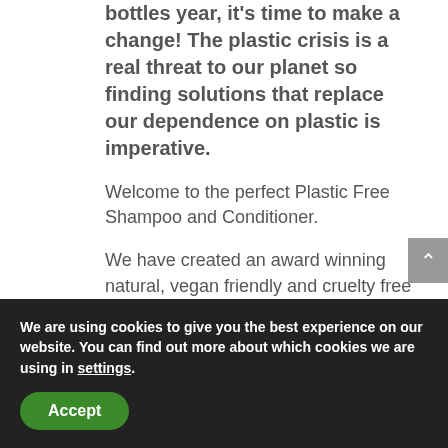bottles year, it's time to make a change! The plastic crisis is a real threat to our planet so finding solutions that replace our dependence on plastic is imperative.
Welcome to the perfect Plastic Free Shampoo and Conditioner.
We have created an award winning natural, vegan friendly and cruelty free shampoo and conditioner. Free from all the nasty chemicals like SLS and SLES that damage our hair and pose health issues. Gentle, healthy hair and…
We are using cookies to give you the best experience on our website. You can find out more about which cookies we are using in settings.
Accept